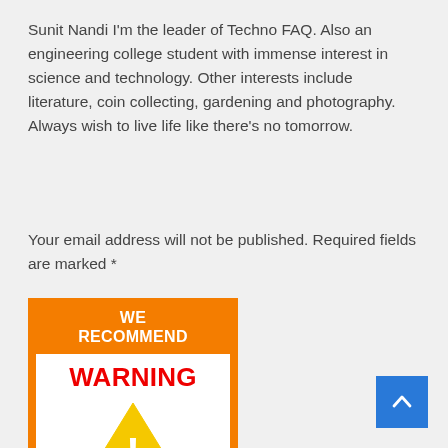Sunit Nandi I'm the leader of Techno FAQ. Also an engineering college student with immense interest in science and technology. Other interests include literature, coin collecting, gardening and photography. Always wish to live life like there's no tomorrow.
Your email address will not be published. Required fields are marked *
[Figure (infographic): Orange 'WE RECOMMEND' card with white inner panel showing 'WARNING' in red text, a yellow warning triangle with exclamation mark, and 'Government Agencies' in bold black text]